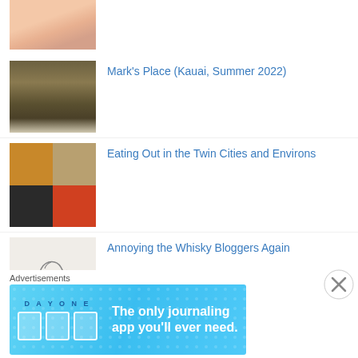[Figure (photo): Partial image of fish/sushi at top of page, cropped]
[Figure (photo): Thumbnail of noodle dish]
Mark's Place (Kauai, Summer 2022)
[Figure (photo): Collage of four bowl dishes]
Eating Out in the Twin Cities and Environs
[Figure (illustration): Pencil sketch of hand holding glass]
Annoying the Whisky Bloggers Again
[Figure (photo): Grey partial thumbnail at bottom]
Tenant VII (Minneapolis)
Advertisements
[Figure (other): Day One journaling app advertisement banner - The only journaling app you'll ever need.]